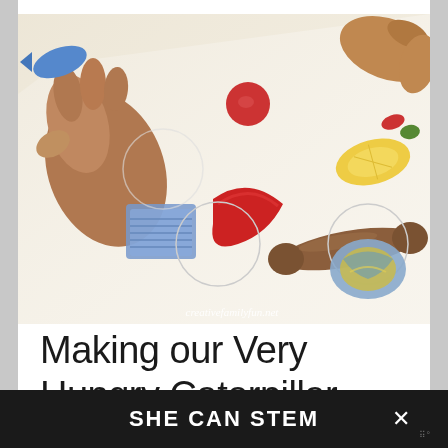[Figure (photo): Child's hand-drawn and colored food items cut out and placed on white paper forming a game board. Items include colorful drawn foods like a sausage/hot dog shape, a round red ball, blue and yellow textured pieces, a lemon/banana slice, and other food cutouts. A child's hand is visible holding/arranging pieces. Watermark reads creativefamilyfun.net.]
Making our Very Hungry Caterpillar game board
SHE CAN STEM